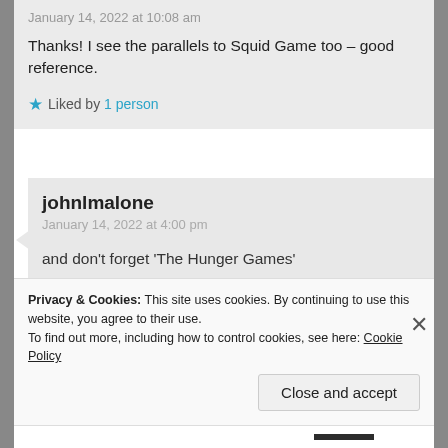January 14, 2022 at 10:08 am
Thanks! I see the parallels to Squid Game too – good reference.
★ Liked by 1 person
johnlmalone
January 14, 2022 at 4:00 pm
and don't forget 'The Hunger Games'
★ Liked by 1 person
Privacy & Cookies: This site uses cookies. By continuing to use this website, you agree to their use.
To find out more, including how to control cookies, see here: Cookie Policy
Close and accept